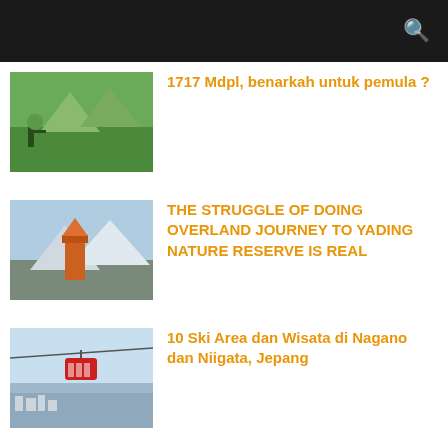1717 Mdpl, benarkah untuk pemula ?
THE STRUGGLE OF DOING OVERLAND JOURNEY TO YADING NATURE RESERVE IS REAL
10 Ski Area dan Wisata di Nagano dan Niigata, Jepang
Kado untuk Ibu, sebuah Tiket Singapore Airlines JAKARTA-TOKYO PP Rp ...